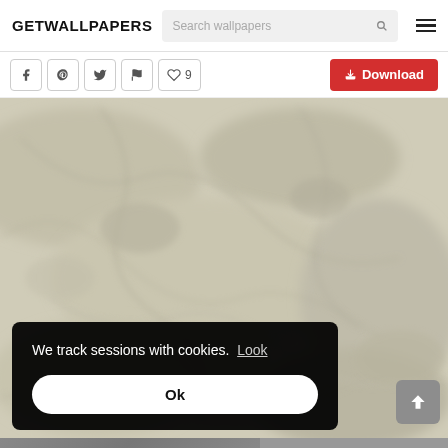GETWALLPAPERS
Search wallpapers
[Figure (screenshot): Marble texture wallpaper image in beige/grey tones, with a cookie consent overlay reading 'We track sessions with cookies. Look' and an 'Ok' button, plus a scroll-to-top arrow button in the bottom right]
We track sessions with cookies. Look
Ok